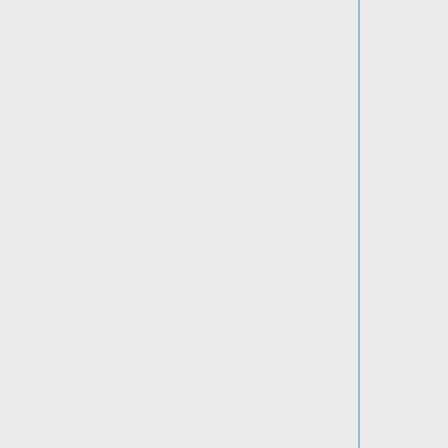b>(i)).
* Split I into two 32-byte sequences, I_L and I_R.
* The returned child key k_i is parse256(I_L) + k_par (mod n).
* The returned chain code c_i is